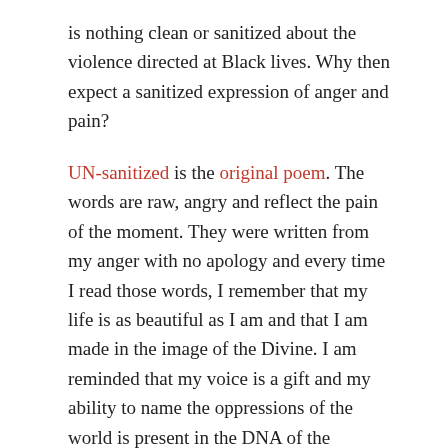is nothing clean or sanitized about the violence directed at Black lives. Why then expect a sanitized expression of anger and pain?
UN-sanitized is the original poem. The words are raw, angry and reflect the pain of the moment. They were written from my anger with no apology and every time I read those words, I remember that my life is as beautiful as I am and that I am made in the image of the Divine. I am reminded that my voice is a gift and my ability to name the oppressions of the world is present in the DNA of the Ancestors who gave me life. The words are also reflected of the everyday expectation of Blackness in a white world: sanitized.